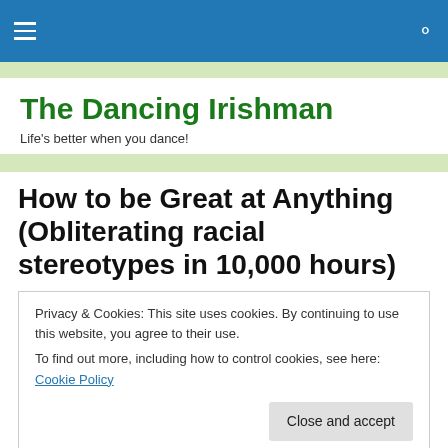The Dancing Irishman — navigation bar with hamburger menu and search icon
The Dancing Irishman
Life's better when you dance!
How to be Great at Anything (Obliterating racial stereotypes in 10,000 hours)
Privacy & Cookies: This site uses cookies. By continuing to use this website, you agree to their use. To find out more, including how to control cookies, see here: Cookie Policy
Close and accept